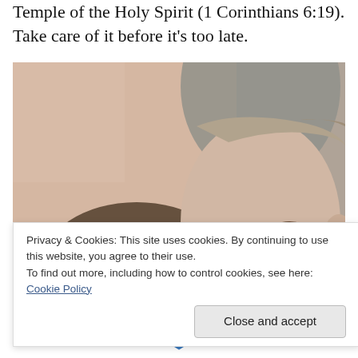Temple of the Holy Spirit (1 Corinthians 6:19). Take care of it before it's too late.
[Figure (photo): Close-up vintage/sepia photograph of two people — a woman wearing a hat in the foreground left and a man on the right, both facing the camera.]
Privacy & Cookies: This site uses cookies. By continuing to use this website, you agree to their use.
To find out more, including how to control cookies, see here: Cookie Policy